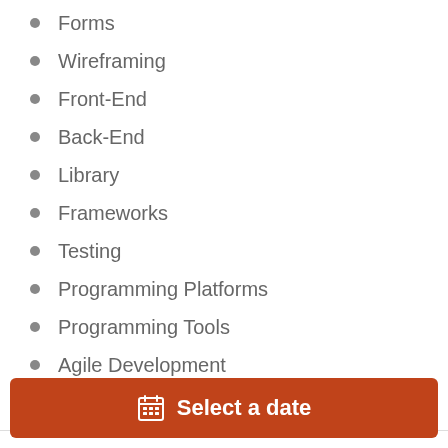Forms
Wireframing
Front-End
Back-End
Library
Frameworks
Testing
Programming Platforms
Programming Tools
Agile Development
Software Code Management
From €107.05
Select a date